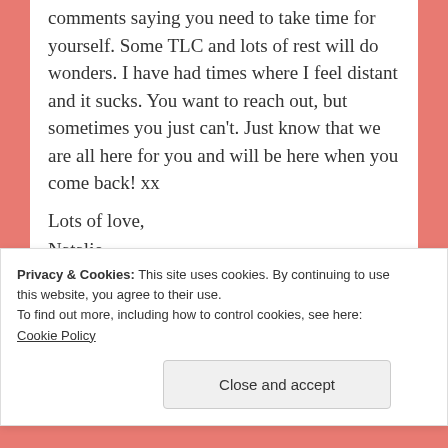comments saying you need to take time for yourself. Some TLC and lots of rest will do wonders. I have had times where I feel distant and it sucks. You want to reach out, but sometimes you just can't. Just know that we are all here for you and will be here when you come back! xx
Lots of love,
Natalie
★ Like
Privacy & Cookies: This site uses cookies. By continuing to use this website, you agree to their use.
To find out more, including how to control cookies, see here:
Cookie Policy
Close and accept